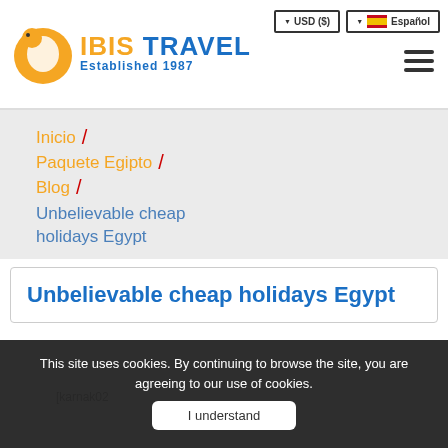IBIS TRAVEL Established 1987
Inicio /
Paquete Egipto /
Blog /
Unbelievable cheap holidays Egypt
Unbelievable cheap holidays Egypt
This site uses cookies. By continuing to browse the site, you are agreeing to our use of cookies.
I understand